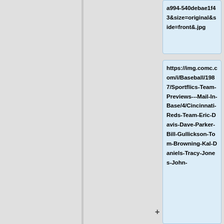a994-540debae1f43&size=original&side=front&.jpg
https://img.comc.com/i/Baseball/1987/Sportflics-Team-Previews---Mail-In-Base/4/Cincinnati-Reds-Team-Eric-Davis-Dave-Parker-Bill-Gullickson-Tom-Browning-Kal-Daniels-Tracy-Jones-John-